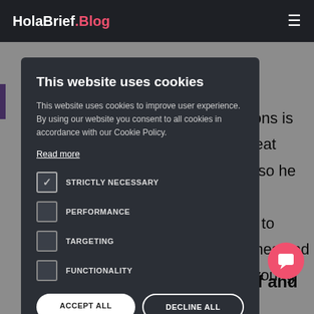HolaBrief.Blog
ark Hirons is
so a great
ars old so he
nd is
chance to
eat names and
elping young
t we w
s been a e
help and inspiration to myself and many other
This website uses cookies
This website uses cookies to improve user experience. By using our website you consent to all cookies in accordance with our Cookie Policy.
Read more
STRICTLY NECESSARY
PERFORMANCE
TARGETING
FUNCTIONALITY
ACCEPT ALL
DECLINE ALL
SHOW DETAILS